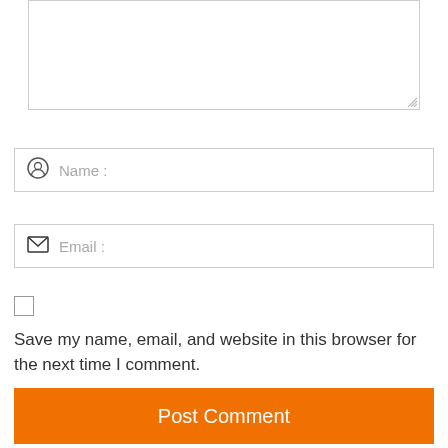[Figure (screenshot): Textarea input box (comment field), partially visible at top of page, with resize handle at bottom-right corner]
[Figure (screenshot): Name input field with person icon and placeholder text 'Name :']
[Figure (screenshot): Email input field with envelope icon and placeholder text 'Email :']
[Figure (screenshot): Unchecked checkbox]
Save my name, email, and website in this browser for the next time I comment.
[Figure (screenshot): Orange 'Post Comment' button]